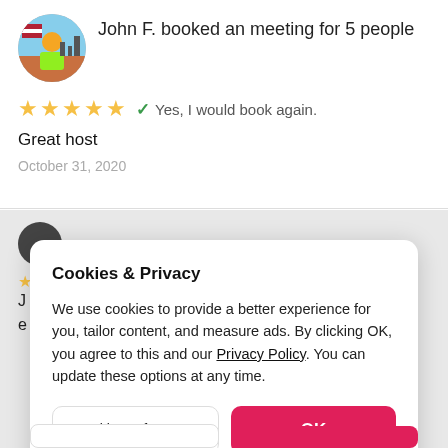[Figure (photo): Circular avatar photo of a person wearing a yellow/green jacket, with an American flag and city skyline in the background]
John F. booked an meeting for 5 people
[Figure (infographic): Five gold stars rating]
✓ Yes, I would book again.
Great host
October 31, 2020
Cookies & Privacy
We use cookies to provide a better experience for you, tailor content, and measure ads. By clicking OK, you agree to this and our Privacy Policy. You can update these options at any time.
Cookie Preferences
OK